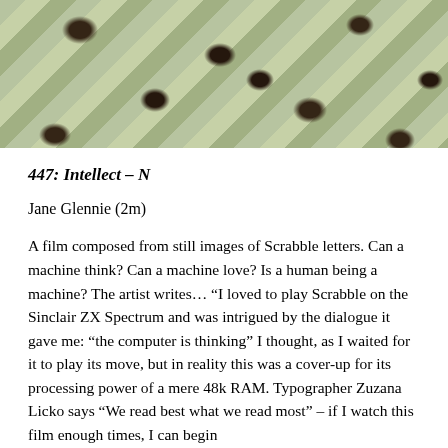[Figure (photo): Close-up photograph showing diagonal striped pattern (green and yellow/cream stripes) with dark circular holes or indentations scattered across the surface — possibly Scrabble tiles or a material surface.]
447: Intellect – N
Jane Glennie (2m)
A film composed from still images of Scrabble letters. Can a machine think? Can a machine love? Is a human being a machine? The artist writes… “I loved to play Scrabble on the Sinclair ZX Spectrum and was intrigued by the dialogue it gave me: “the computer is thinking” I thought, as I waited for it to play its move, but in reality this was a cover-up for its processing power of a mere 48k RAM. Typographer Zuzana Licko says “We read best what we read most” – if I watch this film enough times, I can begin